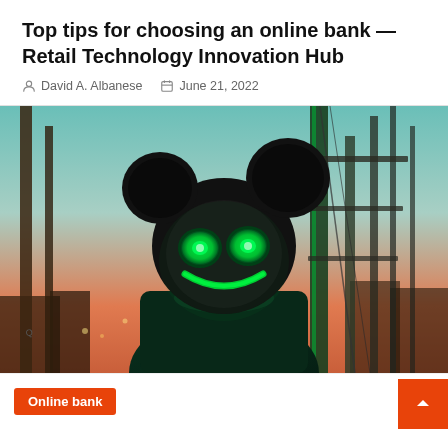Top tips for choosing an online bank — Retail Technology Innovation Hub
David A. Albanese   June 21, 2022
[Figure (photo): Person wearing a large black mouse-head helmet with glowing green LED eyes and smile, dressed in dark green/black outfit, standing in front of industrial scaffolding at dusk with an orange-pink sky.]
Online bank